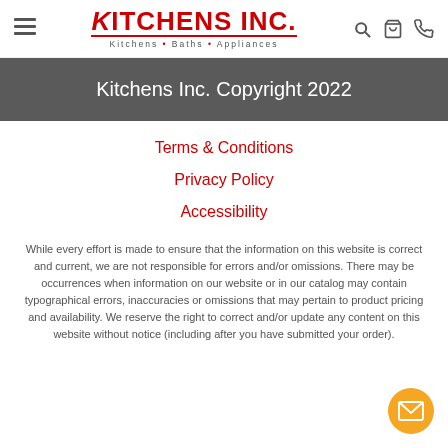Kitchens Inc. — Kitchens • Baths • Appliances (header with navigation icons)
Kitchens Inc. Copyright 2022
Terms & Conditions
Privacy Policy
Accessibility
While every effort is made to ensure that the information on this website is correct and current, we are not responsible for errors and/or omissions. There may be occurrences when information on our website or in our catalog may contain typographical errors, inaccuracies or omissions that may pertain to product pricing and availability. We reserve the right to correct and/or update any content on this website without notice (including after you have submitted your order).